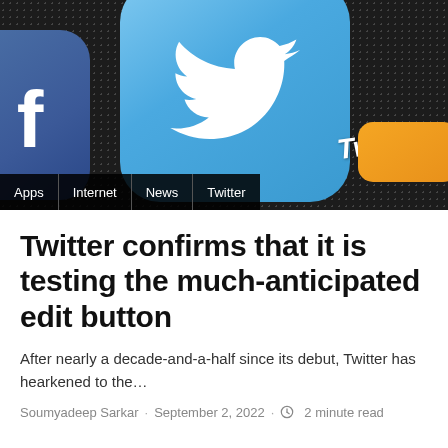[Figure (photo): Close-up photo of a smartphone screen showing the Twitter app icon (blue tile with white bird logo) alongside a partial Facebook icon, on a dark dotted background. A 'Twitter' text label is visible in white italic on the right side. Category tags bar at the bottom shows Apps, Internet, News, Twitter.]
Twitter confirms that it is testing the much-anticipated edit button
After nearly a decade-and-a-half since its debut, Twitter has hearkened to the…
Soumyadeep Sarkar · September 2, 2022 · 2 minute read